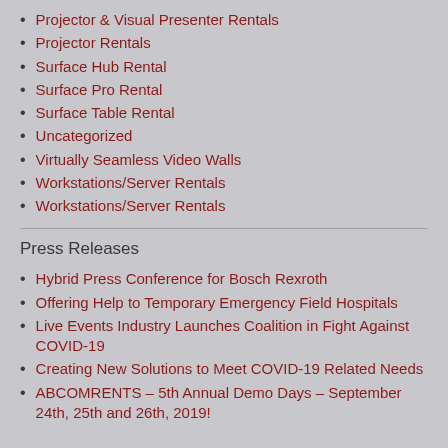Projector & Visual Presenter Rentals
Projector Rentals
Surface Hub Rental
Surface Pro Rental
Surface Table Rental
Uncategorized
Virtually Seamless Video Walls
Workstations/Server Rentals
Workstations/Server Rentals
Press Releases
Hybrid Press Conference for Bosch Rexroth
Offering Help to Temporary Emergency Field Hospitals
Live Events Industry Launches Coalition in Fight Against COVID-19
Creating New Solutions to Meet COVID-19 Related Needs
ABCOMRENTS – 5th Annual Demo Days – September 24th, 25th and 26th, 2019!